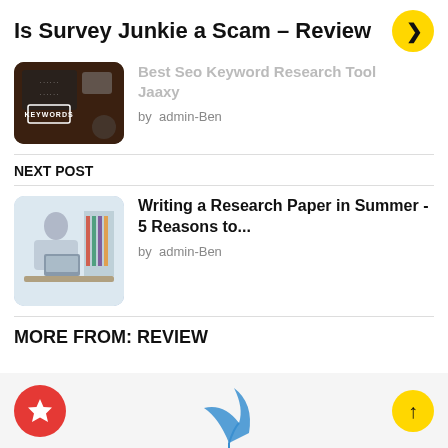Is Survey Junkie a Scam – Review
[Figure (screenshot): Thumbnail image of a keyword research tool article, dark background with 'KEYWORDS' label]
Best Seo Keyword Research Tool Jaaxy
by admin-Ben
NEXT POST
[Figure (photo): Photo of a person writing at a laptop, research paper article thumbnail]
Writing a Research Paper in Summer - 5 Reasons to...
by admin-Ben
MORE FROM: REVIEW